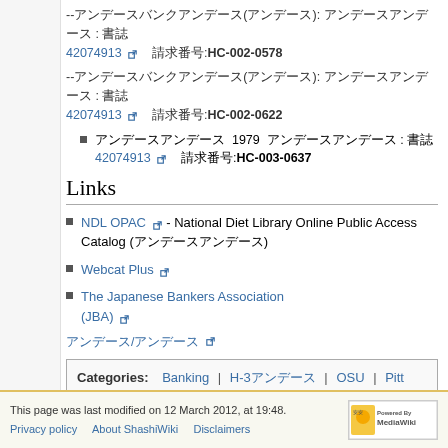--[Japanese text](Japanese text): [Japanese text] : 書誌 42074913 [ext] 請求番号:HC-002-0578
--[Japanese text](Japanese text): [Japanese text] : 書誌 42074913 [ext] 請求番号:HC-002-0622
[Japanese text] 1979 [Japanese text] : 書誌 42074913 [ext] 請求番号:HC-003-0637
Links
NDL OPAC [ext] - National Diet Library Online Public Access Catalog ([Japanese text])
Webcat Plus [ext]
The Japanese Bankers Association (JBA) [ext]
[Japanese text]/[Japanese text] [ext]
| Categories |
| --- |
| Banking | H-3[Japanese] | OSU | Pitt | Mitsui Collection | Shashi(R) | [Japanese] |
This page was last modified on 12 March 2012, at 19:48. Privacy policy   About ShashiWiki   Disclaimers